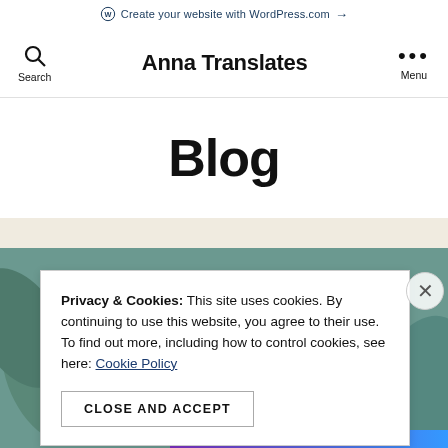Create your website with WordPress.com →
Anna Translates
Blog
Privacy & Cookies: This site uses cookies. By continuing to use this website, you agree to their use. To find out more, including how to control cookies, see here: Cookie Policy
CLOSE AND ACCEPT